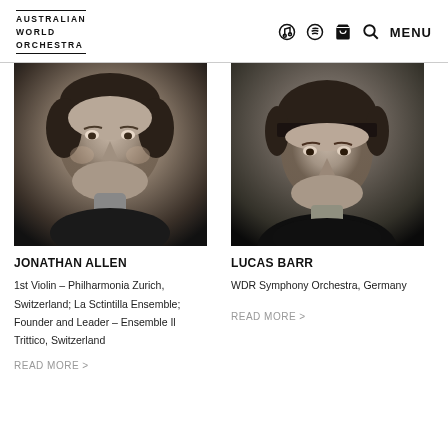AUSTRALIAN WORLD ORCHESTRA
[Figure (photo): Black and white headshot of Jonathan Allen, middle-aged man]
[Figure (photo): Black and white headshot of Lucas Barr, young man with bowl cut hair]
JONATHAN ALLEN
LUCAS BARR
1st Violin – Philharmonia Zurich, Switzerland; La Sctintilla Ensemble; Founder and Leader – Ensemble Il Trittico, Switzerland
WDR Symphony Orchestra, Germany
READ MORE >
READ MORE >